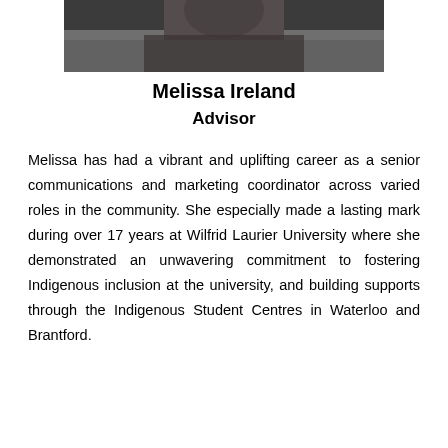[Figure (photo): Portrait photo of Melissa Ireland, a woman with dark hair, shown from approximately shoulders up.]
Melissa Ireland
Advisor
Melissa has had a vibrant and uplifting career as a senior communications and marketing coordinator across varied roles in the community. She especially made a lasting mark during over 17 years at Wilfrid Laurier University where she demonstrated an unwavering commitment to fostering Indigenous inclusion at the university, and building supports through the Indigenous Student Centres in Waterloo and Brantford.